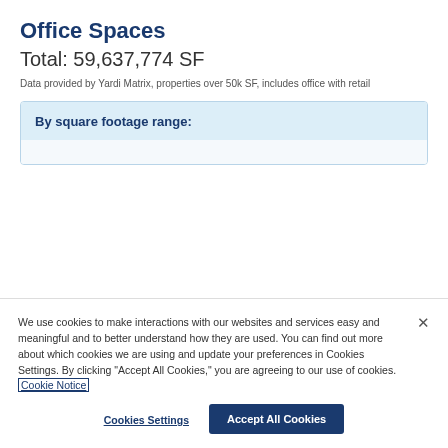Office Spaces
Total: 59,637,774 SF
Data provided by Yardi Matrix, properties over 50k SF, includes office with retail
By square footage range:
We use cookies to make interactions with our websites and services easy and meaningful and to better understand how they are used. You can find out more about which cookies we are using and update your preferences in Cookies Settings. By clicking "Accept All Cookies," you are agreeing to our use of cookies. Cookie Notice
Cookies Settings
Accept All Cookies